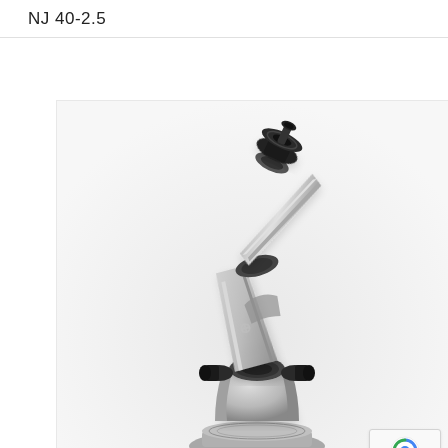NJ 40-2.5
[Figure (photo): Industrial robotic arm (NJ 40-2.5) shown in silver/metallic finish with black joints and end-effector, mounted on a circular base. The robot arm is depicted at an angle against a light gradient background.]